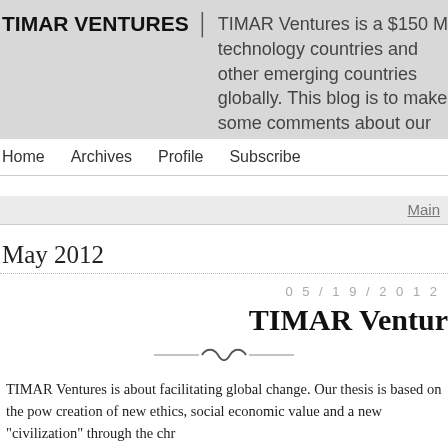TIMAR VENTURES | TIMAR Ventures is a $150 M technology countries and other emerging countries globally. This blog is to make some comments about our learnings.
Home   Archives   Profile   Subscribe
Main
May 2012
05/19/2012
TIMAR Ventur
TIMAR Ventures is about facilitating global change. Our thesis is based on the pow creation of new ethics, social economic value and a new "civilization" through the chr
We invest in technology companies, primarily in Turkey, in Jordan and in emergin